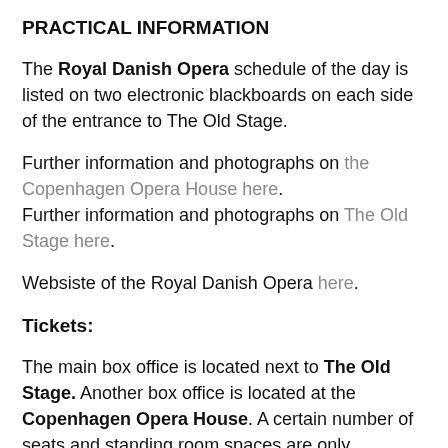PRACTICAL INFORMATION
The Royal Danish Opera schedule of the day is listed on two electronic blackboards on each side of the entrance to The Old Stage.
Further information and photographs on the Copenhagen Opera House here.
Further information and photographs on The Old Stage here.
Websiste of the Royal Danish Opera here.
Tickets:
The main box office is located next to The Old Stage. Another box office is located at the Copenhagen Opera House. A certain number of seats and standing room spaces are only available for purchase on the day of performance. Standing room stapce only available at the Copenhagen Opera House.
Tickets may be bought from the website and printed out at